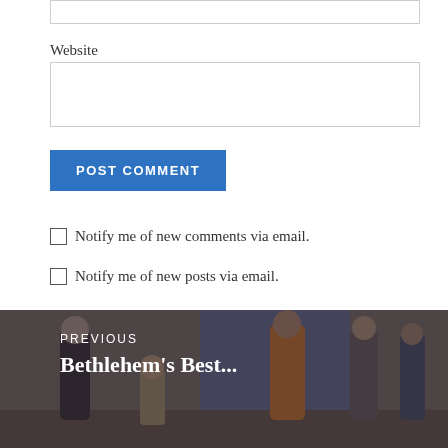Website
POST COMMENT
Notify me of new comments via email.
Notify me of new posts via email.
[Figure (photo): Previous post thumbnail showing people in biblical/nativity costumes on a stage, with text overlay 'PREVIOUS Bethlehem's Best...']
PREVIOUS
Bethlehem's Best...